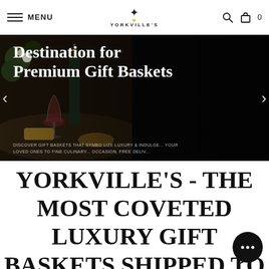MENU | YORKVILLE'S | Search | Cart 0
[Figure (screenshot): Hero banner with dark background showing wine bottle, wine glass, cheese and food items on a table. Large serif text reads 'Destination for Premium Gift Baskets' with navigation arrows on left and right. Subtitle text: 'DISCOVER GIFT BASKETS THAT SYMBOLIZE LUXURY & INDULGE... YOUR LOVED ONES TO FINE CULINARY... OCCASION. FREE DELIV...']
YORKVILLE'S - THE MOST COVETED LUXURY GIFT BASKETS SHIPPED TO AUBURN,